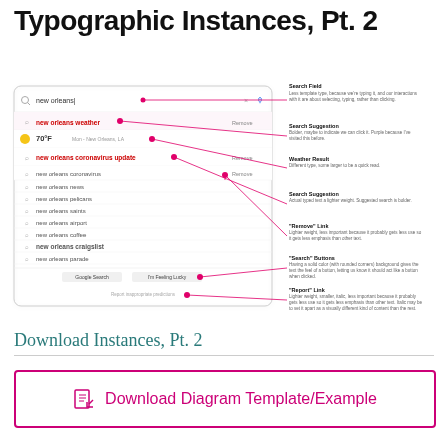Typographic Instances, Pt. 2
[Figure (screenshot): Annotated screenshot of a Google search autocomplete interface showing a search for 'new orleans', with callout labels explaining: Search Field, Search Suggestion, Weather Result, Search Suggestion, 'Remove' Link, 'Search' Buttons, 'Report' Link.]
Download Instances, Pt. 2
Download Diagram Template/Example